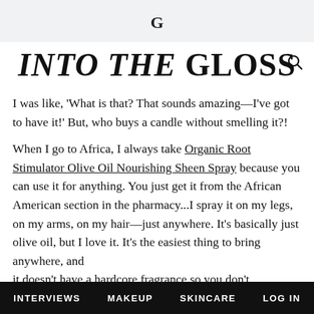[Into The Gloss logo icon]
INTO THE GLOSS
I was like, 'What is that? That sounds amazing—I've got to have it!' But, who buys a candle without smelling it?!
When I go to Africa, I always take Organic Root Stimulator Olive Oil Nourishing Sheen Spray because you can use it for anything. You just get it from the African American section in the pharmacy...I spray it on my legs, on my arms, on my hair—just anywhere. It's basically just olive oil, but I love it. It's the easiest thing to bring anywhere, and it doesn't have a hardcore fragrance so you don't
INTERVIEWS   MAKEUP   SKINCARE   LOG IN